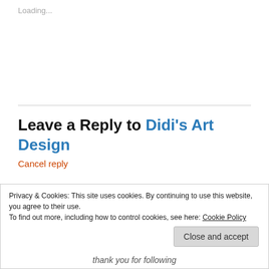Loading...
Leave a Reply to Didi's Art Design
Cancel reply
You must be logged in to post a comment.
This site uses Akismet to reduce spam. Learn how your comment data is processed.
Privacy & Cookies: This site uses cookies. By continuing to use this website, you agree to their use.
To find out more, including how to control cookies, see here: Cookie Policy
Close and accept
thank you for following